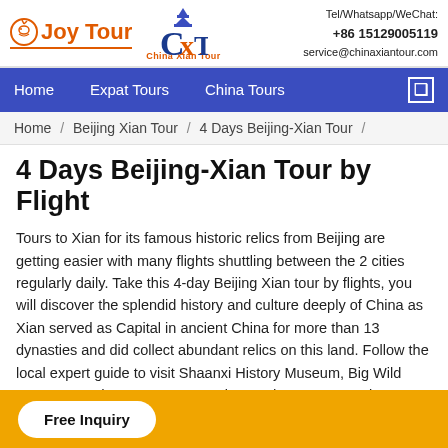[Figure (logo): Joy Tour and China Xian Tour (CXT) logos side by side with contact info]
Tel/Whatsapp/WeChat: +86 15129005119
service@chinaxiantour.com
Home   Expat Tours   China Tours
Home / Beijing Xian Tour / 4 Days Beijing-Xian Tour /
4 Days Beijing-Xian Tour by Flight
Tours to Xian for its famous historic relics from Beijing are getting easier with many flights shuttling between the 2 cities regularly daily. Take this 4-day Beijing Xian tour by flights, you will discover the splendid history and culture deeply of China as Xian served as Capital in ancient China for more than 13 dynasties and did collect abundant relics on this land. Follow the local expert guide to visit Shaanxi History Museum, Big Wild Goose Pagoda, Terra-cotta Warriors and Horses, Huaqing Hot Springs, Mount. Huashan, Xian
Free Inquiry